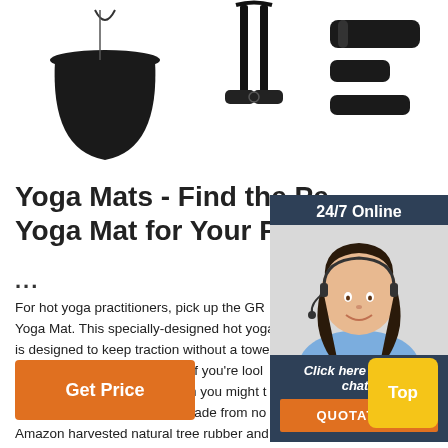[Figure (photo): Product photo showing gym/yoga equipment including a black drawstring bag, suspension trainer straps with handles, and foam rollers on a white background]
Yoga Mats - Find the Perfect Yoga Mat for Your Practice
...
For hot yoga practitioners, pick up the GR... Yoga Mat. This specially-designed hot yoga mat is designed to keep traction without a towel no matter how much you sweat. If you're looking for an eco-friendly yoga mat, then you might try the eKO® mat. The eKO mat is made from non-Amazon harvested natural tree rubber and is biodegradable.
[Figure (other): 24/7 Online chat widget with photo of smiling woman with headset, dark blue background, 'Click here for free chat!' text, and orange QUOTATION button]
[Figure (other): Yellow 'Top' button in bottom right corner]